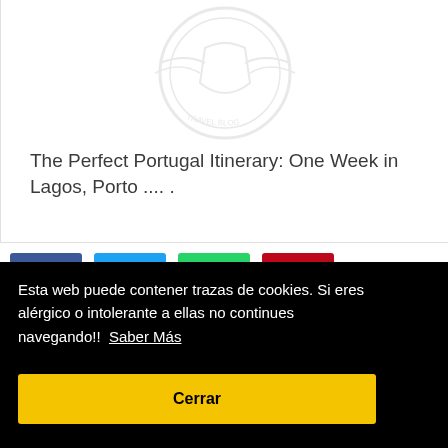[Figure (logo): Faded circular logo/watermark in light gray on white background, partially visible at top of page]
The Perfect Portugal Itinerary: One Week in Lagos, Porto .... .
[Figure (other): Social share buttons: Facebook (blue), Twitter (blue), WhatsApp (green), Pinterest (red)]
Esta web puede contener trazas de cookies. Si eres alérgico o intolerante a ellas no continues navegando!!  Saber Más
Cerrar